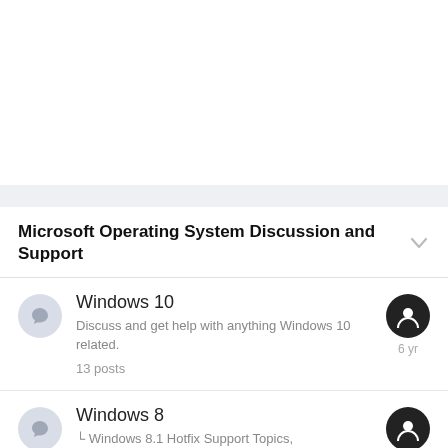Microsoft Operating System Discussion and Support
Windows 10
Discuss and get help with anything Windows 10 related.
13 posts
6 yr
Windows 8
— Windows 8.1 Hotfix Support Topics,